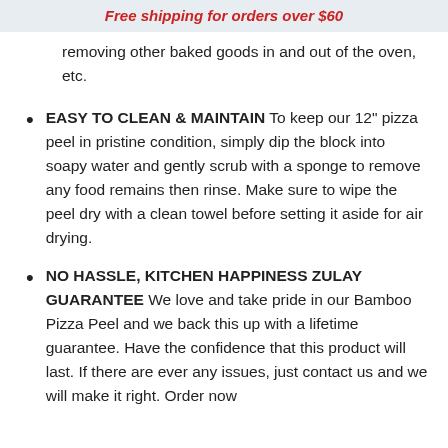Free shipping for orders over $60
removing other baked goods in and out of the oven, etc.
EASY TO CLEAN & MAINTAIN To keep our 12" pizza peel in pristine condition, simply dip the block into soapy water and gently scrub with a sponge to remove any food remains then rinse. Make sure to wipe the peel dry with a clean towel before setting it aside for air drying.
NO HASSLE, KITCHEN HAPPINESS ZULAY GUARANTEE We love and take pride in our Bamboo Pizza Peel and we back this up with a lifetime guarantee. Have the confidence that this product will last. If there are ever any issues, just contact us and we will make it right. Order now and be assured that this product will live up to